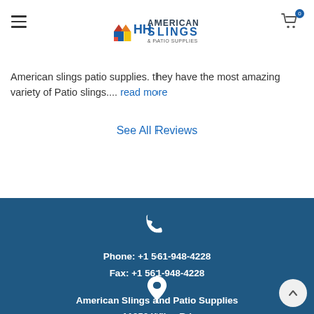American Slings & Patio Supplies
American slings patio supplies. they have the most amazing variety of Patio slings.... read more
See All Reviews
[Figure (other): Phone icon (white handset) on dark blue footer background]
Phone: +1 561-948-4228
Fax: +1 561-948-4228
[Figure (other): Location/map pin icon (white) on dark blue footer background]
American Slings and Patio Supplies
11050 Wiles Rd